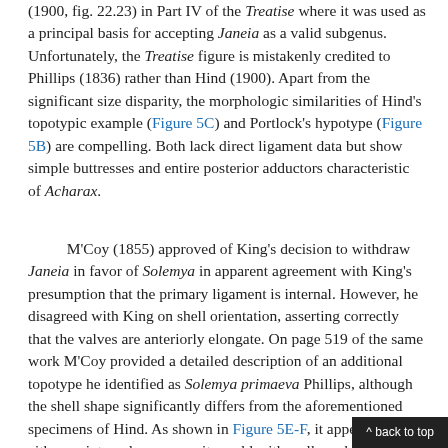(1900, fig. 22.23) in Part IV of the Treatise where it was used as a principal basis for accepting Janeia as a valid subgenus. Unfortunately, the Treatise figure is mistakenly credited to Phillips (1836) rather than Hind (1900). Apart from the significant size disparity, the morphologic similarities of Hind's topotypic example (Figure 5C) and Portlock's hypotype (Figure 5B) are compelling. Both lack direct ligament data but show simple buttresses and entire posterior adductors characteristic of Acharax.
M'Coy (1855) approved of King's decision to withdraw Janeia in favor of Solemya in apparent agreement with King's presumption that the primary ligament is internal. However, he disagreed with King on shell orientation, asserting correctly that the valves are anteriorly elongate. On page 519 of the same work M'Coy provided a detailed description of an additional topotype he identified as Solemya primaeva Phillips, although the shell shape significantly differs from the aforementioned specimens of Hind. As shown in Figure 5E-F, it appears to be either an internal or composite mold with well-marked adductor scars and radial striae. As in Acha...